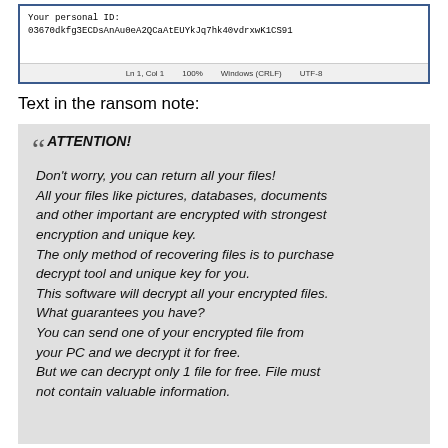[Figure (screenshot): Notepad-like application window showing a text file with personal ID: 03670dkfg3ECDsAnAu0eA2QCaAtEUYkJq7hk40vdrxwK1CS91. Status bar shows Ln 1, Col 1 | 100% | Windows (CRLF) | UTF-8]
Text in the ransom note:
ATTENTION! Don't worry, you can return all your files! All your files like pictures, databases, documents and other important are encrypted with strongest encryption and unique key. The only method of recovering files is to purchase decrypt tool and unique key for you. This software will decrypt all your encrypted files. What guarantees you have? You can send one of your encrypted file from your PC and we decrypt it for free. But we can decrypt only 1 file for free. File must not contain valuable information.